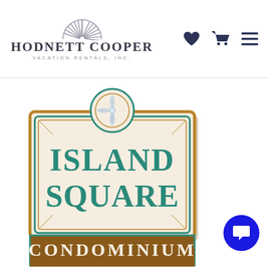[Figure (logo): Hodnett Cooper Vacation Rentals Inc. logo with sunburst graphic above stylized serif text]
[Figure (illustration): Island Square Condominium sign logo — decorative sign shape with teal and gold border, cream background, teal text reading ISLAND SQUARE, gold banner at bottom reading CONDOMINIUM, decorative pinwheel/fanflower at top center]
[Figure (other): Blue circular chat/message button in bottom right corner]